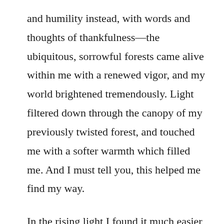and humility instead, with words and thoughts of thankfulness—the ubiquitous, sorrowful forests came alive within me with a renewed vigor, and my world brightened tremendously. Light filtered down through the canopy of my previously twisted forest, and touched me with a softer warmth which filled me. And I must tell you, this helped me find my way.
In the rising light I found it much easier to